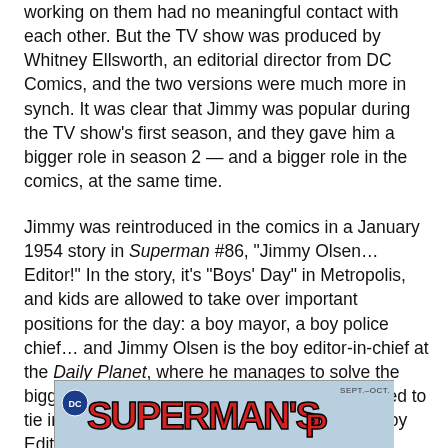working on them had no meaningful contact with each other. But the TV show was produced by Whitney Ellsworth, an editorial director from DC Comics, and the two versions were much more in synch. It was clear that Jimmy was popular during the TV show's first season, and they gave him a bigger role in season 2 — and a bigger role in the comics, at the same time.
Jimmy was reintroduced in the comics in a January 1954 story in Superman #86, "Jimmy Olsen… Editor!" In the story, it's "Boys' Day" in Metropolis, and kids are allowed to take over important positions for the day: a boy mayor, a boy police chief… and Jimmy Olsen is the boy editor-in-chief at the Daily Planet, where he manages to solve the biggest mystery in Metropolis. This was produced to tie in with a TV episode called "Jimmy Olsen, Boy Editor", which aired in February 1954.
[Figure (illustration): Partial view of a Superman's Pal Jimmy Olsen comic book cover, showing the Superman logo in red, a DC badge on the left, and 'SEPT.-OCT.' in the upper right corner. The background is light blue.]